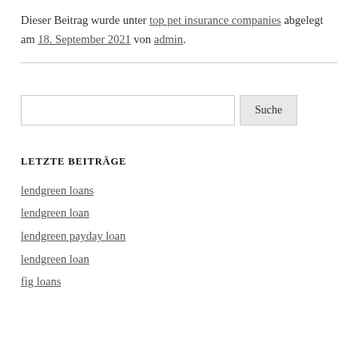Dieser Beitrag wurde unter top pet insurance companies abgelegt am 18. September 2021 von admin.
LETZTE BEITRÄGE
lendgreen loans
lendgreen loan
lendgreen payday loan
lendgreen loan
fig loans